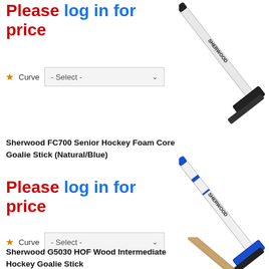Please log in for price
* Curve - Select -
[Figure (photo): Sherwood hockey goalie stick with white and black coloring, angled diagonally]
Sherwood FC700 Senior Hockey Foam Core Goalie Stick (Natural/Blue)
Please log in for price
* Curve - Select -
[Figure (photo): Sherwood hockey goalie stick with white and blue coloring, angled diagonally]
Sherwood G5030 HOF Wood Intermediate Hockey Goalie Stick
[Figure (photo): Sherwood wooden hockey goalie stick, natural wood color, partial view]